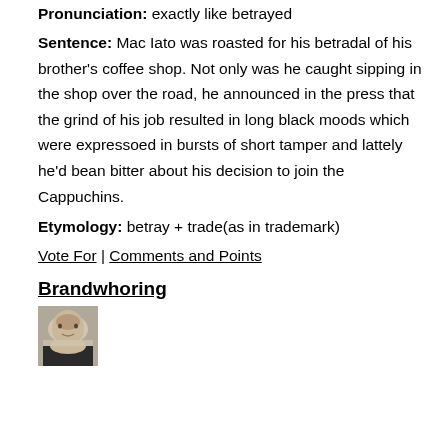Pronunciation: exactly like betrayed
Sentence: Mac Iato was roasted for his betradal of his brother's coffee shop. Not only was he caught sipping in the shop over the road, he announced in the press that the grind of his job resulted in long black moods which were expressoed in bursts of short tamper and lattely he'd bean bitter about his decision to join the Cappuchins.
Etymology: betray + trade(as in trademark)
Vote For | Comments and Points
Brandwhoring
[Figure (photo): Small portrait photo of a woman with blonde hair]